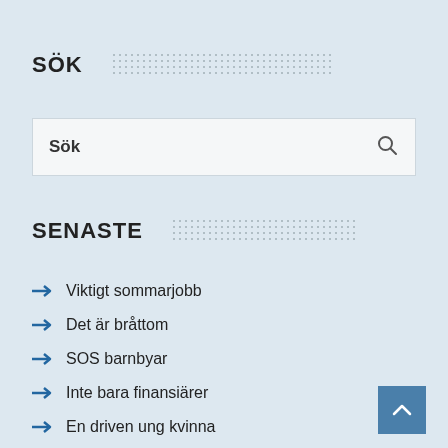SÖK
Sök
SENASTE
Viktigt sommarjobb
Det är bråttom
SOS barnbyar
Inte bara finansiärer
En driven ung kvinna